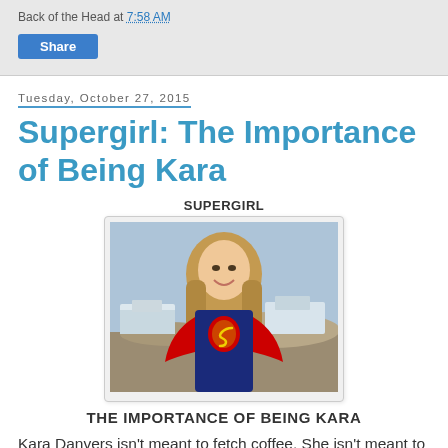Back of the Head at 7:58 AM
Share
Tuesday, October 27, 2015
Supergirl: The Importance of Being Kara
SUPERGIRL
[Figure (photo): Photo of actress in Supergirl costume smiling on an outdoor set]
THE IMPORTANCE OF BEING KARA
Kara Danvers isn't meant to fetch coffee. She isn't meant to blend in. She isn't meant to be anything less than excellent.